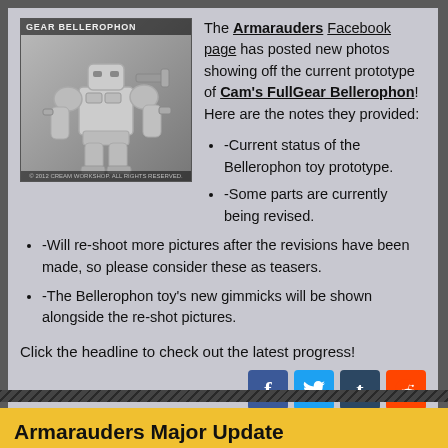[Figure (photo): White/gray prototype toy robot - Cam's FullGear Bellerophon, with text label 'GEAR BELLEROPHON' at top and copyright text at bottom]
The Armarauders Facebook page has posted new photos showing off the current prototype of Cam's FullGear Bellerophon! Here are the notes they provided:
-Current status of the Bellerophon toy prototype.
-Some parts are currently being revised.
-Will re-shoot more pictures after the revisions have been made, so please consider these as teasers.
-The Bellerophon toy's new gimmicks will be shown alongside the re-shot pictures.
Click the headline to check out the latest progress!
› Views: 5293    Discuss on the Toyark Forums
Armarauders Major Update